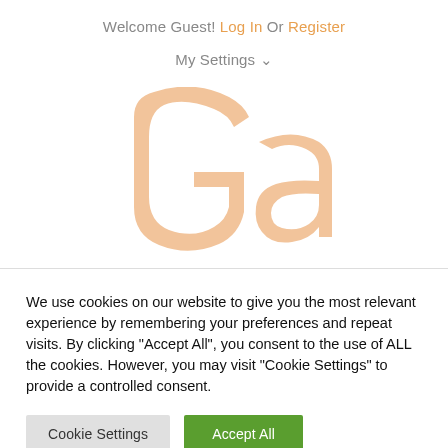Welcome Guest! Log In Or Register
My Settings ∨
[Figure (logo): Large sandy/peach-colored 'Ga' logo letters on white background]
We use cookies on our website to give you the most relevant experience by remembering your preferences and repeat visits. By clicking "Accept All", you consent to the use of ALL the cookies. However, you may visit "Cookie Settings" to provide a controlled consent.
Cookie Settings
Accept All